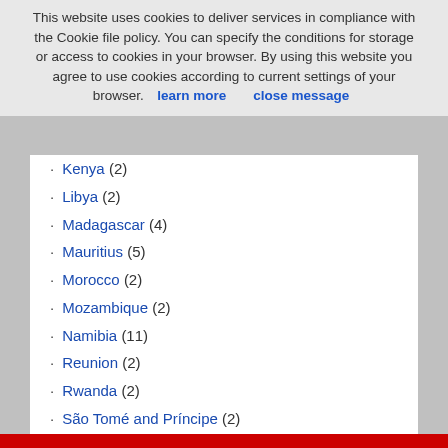This website uses cookies to deliver services in compliance with the Cookie file policy. You can specify the conditions for storage or access to cookies in your browser. By using this website you agree to use cookies according to current settings of your browser. learn more    close message
Kenya (2)
Libya (2)
Madagascar (4)
Mauritius (5)
Morocco (2)
Mozambique (2)
Namibia (11)
Reunion (2)
Rwanda (2)
São Tomé and Príncipe (2)
Senegal (2)
Seychelles (6)
South Africa (41)
Tanzania (6)
Tunisia (2)